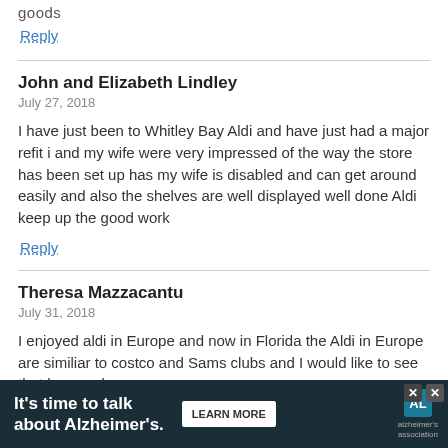Reply
John and Elizabeth Lindley
July 27, 2018

I have just been to Whitley Bay Aldi and have just had a major refit i and my wife were very impressed of the way the store has been set up has my wife is disabled and can get around easily and also the shelves are well displayed well done Aldi keep up the good work
Reply
Theresa Mazzacantu
July 31, 2018

I enjoyed aldi in Europe and now in Florida the Aldi in Europe are similiar to costco and Sams clubs and I would like to see that happen here
It's time to talk about Alzheimer's.